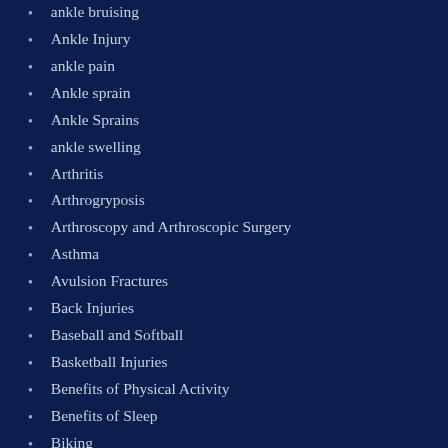ankle bruising
Ankle Injury
ankle pain
Ankle sprain
Ankle Sprains
ankle swelling
Arthritis
Arthrogryposis
Arthroscopy and Arthroscopic Surgery
Asthma
Avulsion Fractures
Back Injuries
Baseball and Softball
Basketball Injuries
Benefits of Physical Activity
Benefits of Sleep
Biking
Bodybuilding
Bone Mineral Density